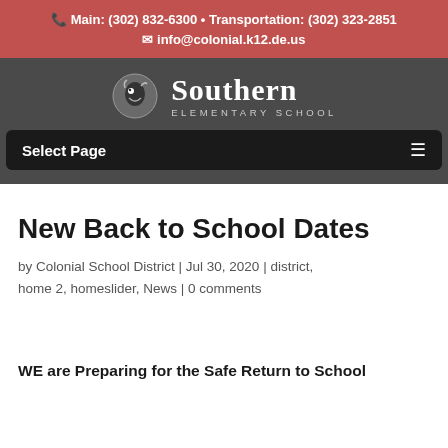Main: (302) 832-6300 • Transportation: (302) 323-2851
info@colonial.k12.de.us
[Figure (logo): Southern Elementary School logo with mascot icon and school name]
Select Page
New Back to School Dates
by Colonial School District | Jul 30, 2020 | district, home 2, homeslider, News | 0 comments
WE are Preparing for the Safe Return to School